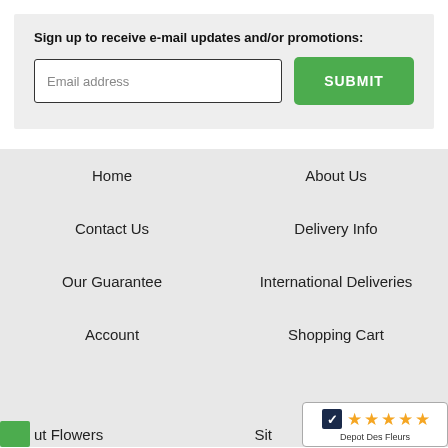Sign up to receive e-mail updates and/or promotions:
[Figure (screenshot): Email address input field and green SUBMIT button]
Home
About Us
Contact Us
Delivery Info
Our Guarantee
International Deliveries
Account
Shopping Cart
[Figure (logo): Depot Des Fleurs 5-star rating badge]
ut Flowers
Sit